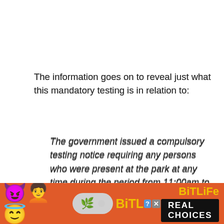The information goes on to reveal just what this mandatory testing is in relation to:
The government issued a compulsory testing notice requiring any persons who were present at the park at any time during the period from 11:00am to 6:00pm on Nov 14 (Sun) to undergo compulsory testing for COVID-19 on or before Nov 18 (Thu).
As of now, the Disney theme park is reopening on November 18.
Hong Kong Disneyland Park will welcome new attractions like the Marvel-themed area while World...
[Figure (screenshot): BitLife advertisement banner with emojis (devil, woman, angel, face) and text 'BITLIFE REAL CHOICES' on red background]